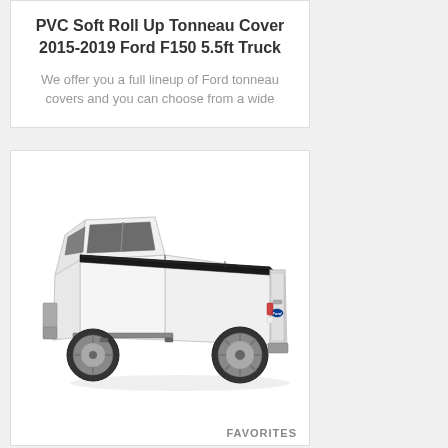PVC Soft Roll Up Tonneau Cover 2015-2019 Ford F150 5.5ft Truck
We offer you a full lineup of Ford tonneau covers and you can choose from a wide
[Figure (photo): White Ford F150 pickup truck with black soft roll-up tonneau cover installed on the truck bed, shown from a rear three-quarter angle on a white background.]
FAVORITES